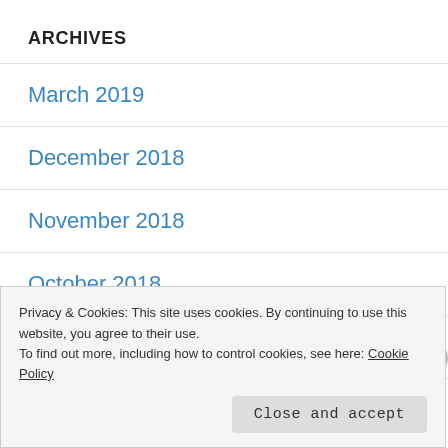ARCHIVES
March 2019
December 2018
November 2018
October 2018
July 2018
June 2018 (partial, cut off)
Privacy & Cookies: This site uses cookies. By continuing to use this website, you agree to their use.
To find out more, including how to control cookies, see here: Cookie Policy
Close and accept